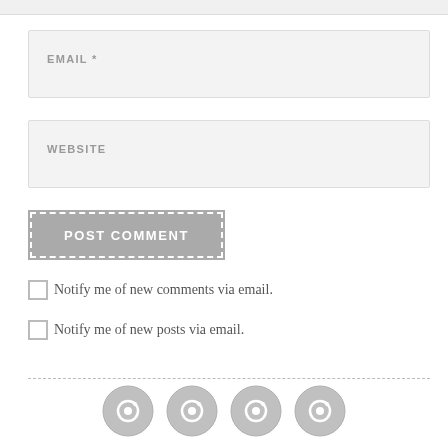EMAIL *
WEBSITE
POST COMMENT
Notify me of new comments via email.
Notify me of new posts via email.
[Figure (illustration): Four circular social media icon buttons in a row, gray colored with a small circular badge icon in the center of each.]